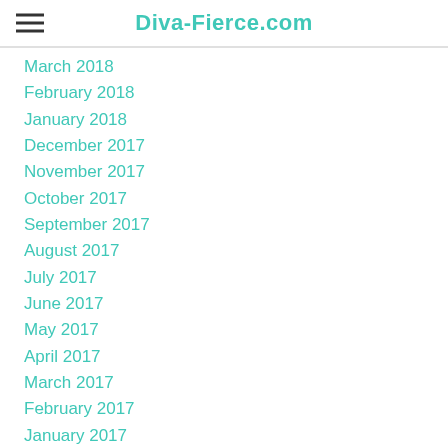Diva-Fierce.com
March 2018
February 2018
January 2018
December 2017
November 2017
October 2017
September 2017
August 2017
July 2017
June 2017
May 2017
April 2017
March 2017
February 2017
January 2017
December 2016
November 2016
October 2016